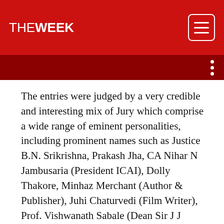THE WEEK
The entries were judged by a very credible and interesting mix of Jury which comprise a wide range of eminent personalities, including prominent names such as Justice B.N. Srikrishna, Prakash Jha, CA Nihar N Jambusaria (President ICAI), Dolly Thakore, Minhaz Merchant (Author & Publisher), Juhi Chaturvedi (Film Writer), Prof. Vishwanath Sabale (Dean Sir J J School of Art) and Avinash Kaul (CEO Network 18-Broadcast, MD A+E Networks TV18). Swapnil Kothari - President CFBP; and Shekhar Bajaj - Founder member CFBP and MD of Bajaj